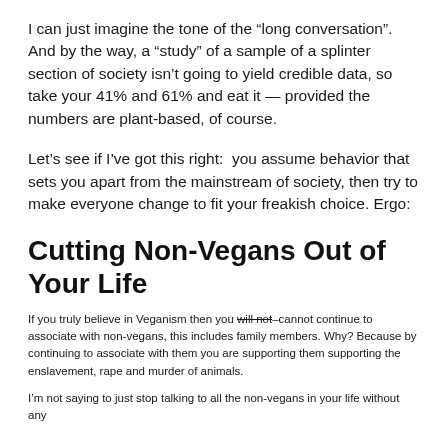I can just imagine the tone of the “long conversation”. And by the way, a “study” of a sample of a splinter section of society isn’t going to yield credible data, so take your 41% and 61% and eat it — provided the numbers are plant-based, of course.
Let’s see if I’ve got this right:  you assume behavior that sets you apart from the mainstream of society, then try to make everyone change to fit your freakish choice. Ergo:
Cutting Non-Vegans Out of Your Life
If you truly believe in Veganism then you will not–cannot continue to associate with non-vegans, this includes family members. Why? Because by continuing to associate with them you are supporting them supporting the enslavement, rape and murder of animals.
I’m not saying to just stop talking to all the non-vegans in your life without any